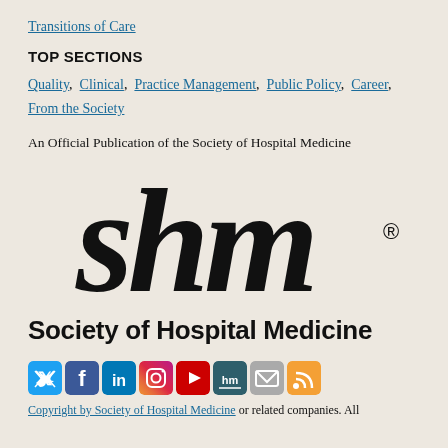Transitions of Care
TOP SECTIONS
Quality, Clinical, Practice Management, Public Policy, Career, From the Society
An Official Publication of the Society of Hospital Medicine
[Figure (logo): SHM logo — large stylized lowercase letters 'shm' with registered trademark symbol, followed by 'Society of Hospital Medicine' in bold sans-serif text]
[Figure (infographic): Row of social media icons: Twitter (blue), Facebook (blue), LinkedIn (blue), Instagram (gradient), YouTube (red), HM (dark blue/green), Email (gray), RSS (orange)]
Copyright by Society of Hospital Medicine or related companies. All